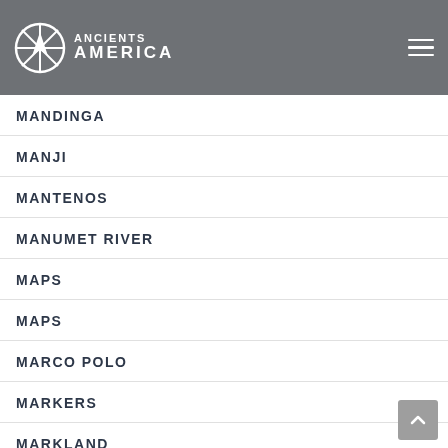ANCIENTS AMERICA
MANDINGA
MANJI
MANTENOS
MANUMET RIVER
MAPS
MAPS
MARCO POLO
MARKERS
MARKLAND